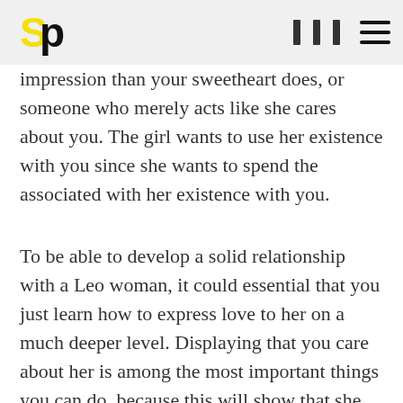SP [logo] navigation icons hamburger menu
impression than your sweetheart does, or someone who merely acts like she cares about you. The girl wants to use her existence with you since she wants to spend the associated with her existence with you.
To be able to develop a solid relationship with a Leo woman, it could essential that you just learn how to express love to her on a much deeper level. Displaying that you care about her is among the most important things you can do, because this will show that she gets valued by